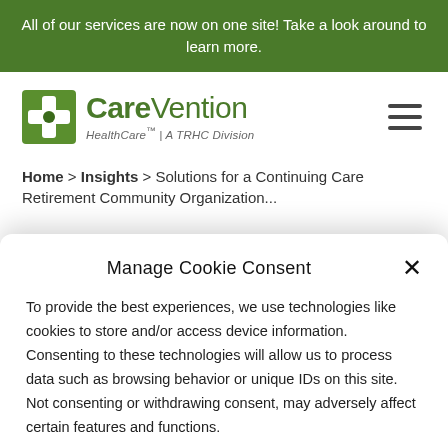All of our services are now on one site! Take a look around to learn more.
[Figure (logo): CareVention HealthCare logo with green cross icon and tagline 'HealthCare™ | A TRHC Division']
Home > Insights > Solutions for a Continuing Care Retirement Community Organization
Manage Cookie Consent
To provide the best experiences, we use technologies like cookies to store and/or access device information. Consenting to these technologies will allow us to process data such as browsing behavior or unique IDs on this site. Not consenting or withdrawing consent, may adversely affect certain features and functions.
Accept